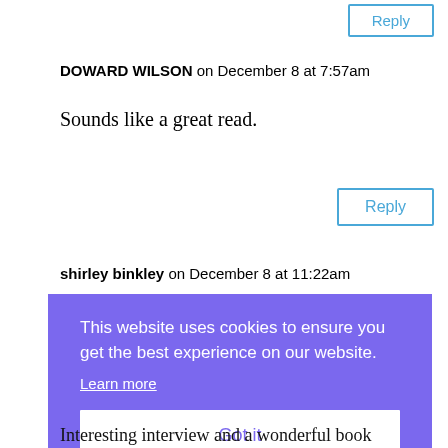Reply
DOWARD WILSON on December 8 at 7:57am
Sounds like a great read.
Reply
shirley binkley on December 8 at 11:22am
This website uses cookies to ensure you get the best experience on our website. Learn more Got it
Interesting interview and a wonderful book